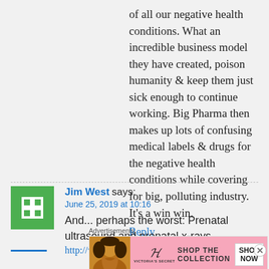of all our negative health conditions. What an incredible business model they have created, poison humanity & keep them just sick enough to continue working. Big Pharma then makes up lots of confusing medical labels & drugs for the negative health conditions while covering for big, polluting industry. It's a win win.
Reply
Jim West says: June 25, 2019 at 10:16
And... perhaps the worst: Prenatal ultrasound and prenatal x-rays http://www.harvoa.org/chs/pr/dushk1dot.ht
[Figure (screenshot): Victoria's Secret advertisement banner: pink background with model photo on left, Victoria's Secret logo and 'SHOP THE COLLECTION' text in center, 'SHOP NOW' button on right]